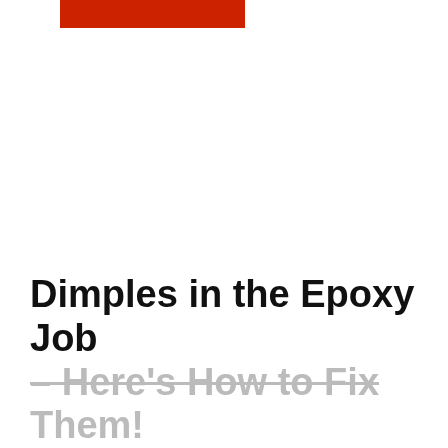[Figure (other): Red rectangular banner/bar at the top of the page]
Dimples in the Epoxy Job – Here's How to Fix Them!